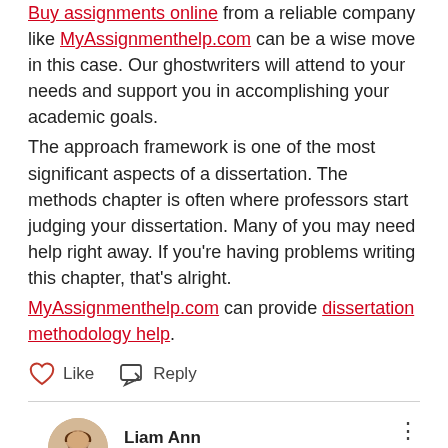Buy assignments online from a reliable company like MyAssignmenthelp.com can be a wise move in this case. Our ghostwriters will attend to your needs and support you in accomplishing your academic goals. The approach framework is one of the most significant aspects of a dissertation. The methods chapter is often where professors start judging your dissertation. Many of you may need help right away. If you're having problems writing this chapter, that's alright. MyAssignmenthelp.com can provide dissertation methodology help.
Like  Reply
Liam Ann · May 12
Figuring out the Key Elements of Business Management